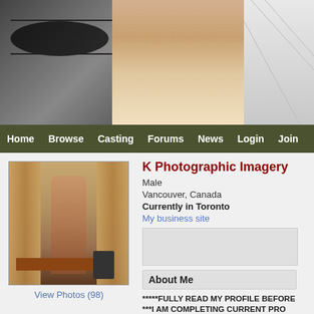[Figure (photo): Website banner with two model figures — a black-and-white close-up face on the left and a color photo of a woman in the center, against a light background on the right]
Home  Browse  Casting  Forums  News  Login  Join
[Figure (photo): Profile photo of a woman standing in a hotel or office room with curtains and a desk]
View Photos (98)
K Photographic Imagery
Male
Vancouver, Canada
Currently in Toronto
My business site
About Me
*****FULLY READ MY PROFILE BEFORE
***I AM COMPLETING CURRENT PRO